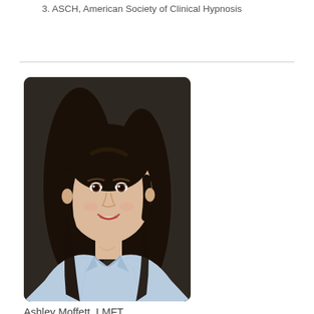3. ASCH, American Society of Clinical Hypnosis
[Figure (photo): Professional headshot of Ashley Moffett, LMFT — a woman with long dark hair wearing a light blue collared shirt, smiling, against a dark studio background]
Ashley Moffett, LMFT